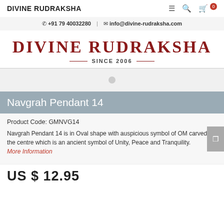DIVINE RUDRAKSHA
☎ +91 79 40032280  |  ✉ info@divine-rudraksha.com
DIVINE RUDRAKSHA
SINCE 2006
Navgrah Pendant 14
Product Code: GMNVG14
Navgrah Pendant 14 is in Oval shape with auspicious symbol of OM carved in the centre which is an ancient symbol of Unity, Peace and Tranquility.
More Information
US $ 12.95